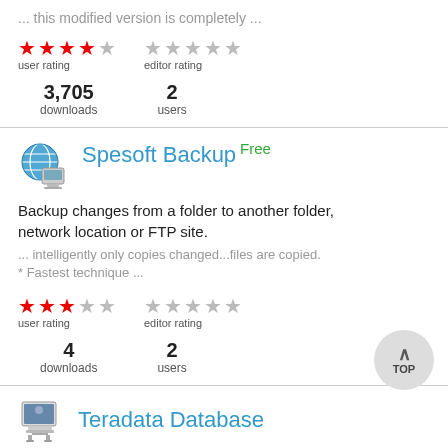... this modified version is completely ...
user rating: 4 filled stars, editor rating: 0 filled stars
3,705 downloads, 2 users
Spesoft Backup Free
Backup changes from a folder to another folder, network location or FTP site.
... intelligently only copies changed...files are copied. * Fastest technique ...
user rating: 3 filled stars, editor rating: 1 filled star
4 downloads, 2 users
Teradata Database